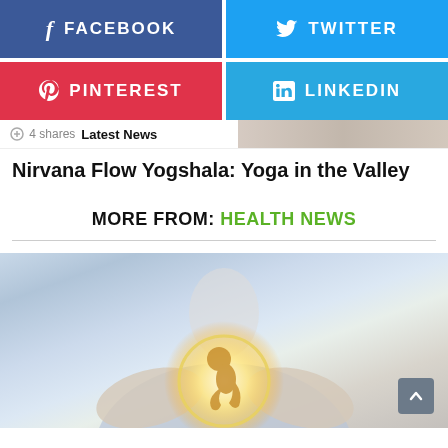[Figure (infographic): Facebook share button - blue with f icon and FACEBOOK text]
[Figure (infographic): Twitter share button - light blue with bird icon and TWITTER text]
[Figure (infographic): Pinterest share button - red with P icon and PINTEREST text]
[Figure (infographic): LinkedIn share button - light blue with 'in' icon and LINKEDIN text]
4 Shares   Latest News
Nirvana Flow Yogshala: Yoga in the Valley
MORE FROM: HEALTH NEWS
[Figure (photo): Person in white shirt holding glowing fetus symbol in cupped hands]